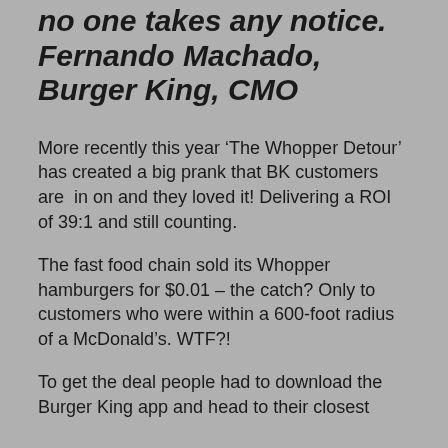no one takes any notice. Fernando Machado, Burger King, CMO
More recently this year ‘The Whopper Detour’ has created a big prank that BK customers are in on and they loved it! Delivering a ROI of 39:1 and still counting.
The fast food chain sold its Whopper hamburgers for $0.01 – the catch? Only to customers who were within a 600-foot radius of a McDonald’s. WTF?!
To get the deal people had to download the Burger King app and head to their closest